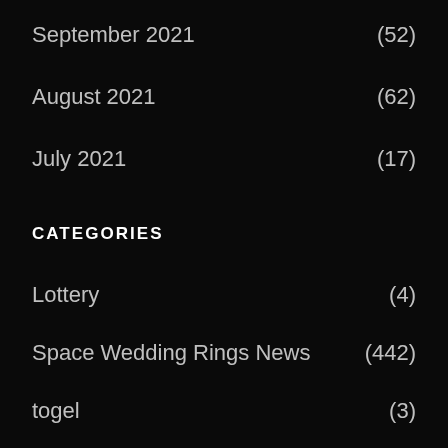September 2021 (52)
August 2021 (62)
July 2021 (17)
CATEGORIES
Lottery (4)
Space Wedding Rings News (442)
togel (3)
RECENT POSTS
Space Wedding